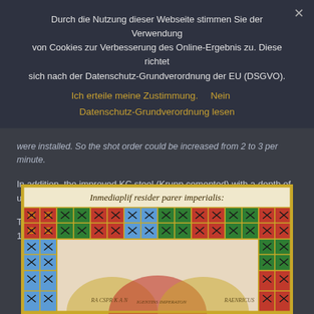Durch die Nutzung dieser Webseite stimmen Sie der Verwendung von Cookies zur Verbesserung des Online-Ergebnis zu. Diese richtet sich nach der Datenschutz-Grundverordnung der EU (DSGVO).
Ich erteile meine Zustimmung.    Nein    Datenschutz-Grundverordnung lesen
were installed. So the shot order could be increased from 2 to 3 per minute.
In addition, the improved KC steel (Krupp cemented) with a depth of up to 300mm was used to increase the armor.
The launch of the SMS Kaiser Barbarossa took place on 21 April 1900, the commissioning on 10 June 1901.
[Figure (illustration): Medieval heraldic illuminated manuscript showing a grid of colorful coat-of-arms shields with crosses and decorative patterns on red, green, and blue backgrounds, with Latin text at top reading 'Inmediaplif resider parer imperialis']